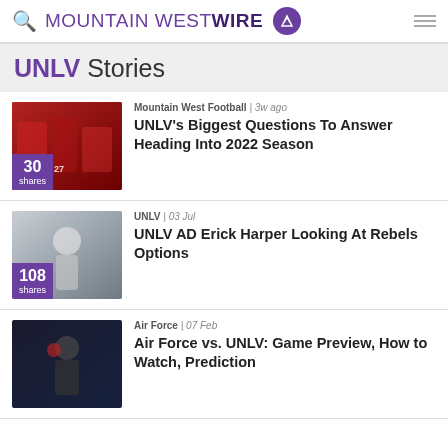MOUNTAIN WEST WIRE
UNLV Stories
[Figure (photo): UNLV football players in red uniforms on field]
Mountain West Football | 3w ago
UNLV's Biggest Questions To Answer Heading Into 2022 Season
[Figure (photo): UNLV football player in white uniform jumping]
UNLV | 03 Jul
UNLV AD Erick Harper Looking At Rebels Options
[Figure (photo): Basketball player in red UNLV jersey shooting]
Air Force | 07 Feb
Air Force vs. UNLV: Game Preview, How to Watch, Prediction